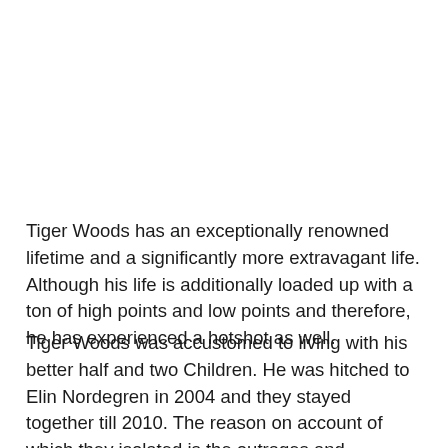Tiger Woods has an exceptionally renowned lifetime and a significantly more extravagant life. Although his life is additionally loaded up with a ton of high points and low points and therefore, he has experienced a hotshot as well.
Tiger Woods was accustomed to living with his better half and two Children. He was hitched to Elin Nordegren in 2004 and they stayed together till 2010. The reason on account of which they isolated is the outrages and undertakings of Tiger Woods. He additionally acknowledged his misstep, yet it was past the point of no return for